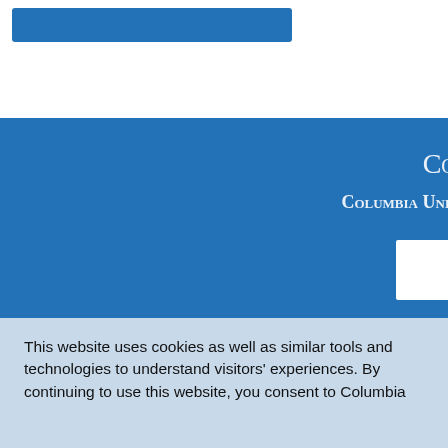[Figure (other): Blue button element in top white header area]
Col
Columbia Unive
Contact Us
208 Hamilton Hall
Mail Code 2805
1130 Amsterdam Avenue
This website uses cookies as well as similar tools and technologies to understand visitors' experiences. By continuing to use this website, you consent to Columbia